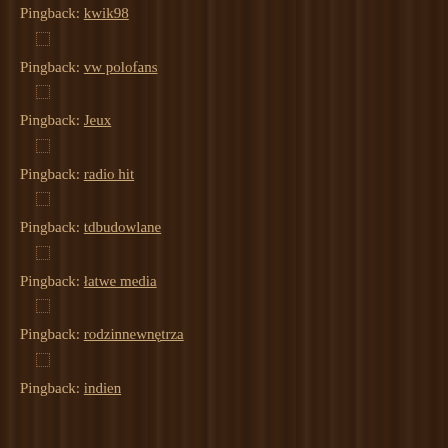Pingback: kwik98
Pingback: vw polofans
Pingback: Jeux
Pingback: radio hit
Pingback: tdbudowlane
Pingback: łatwe media
Pingback: rodzinnewnętrza
Pingback: indien